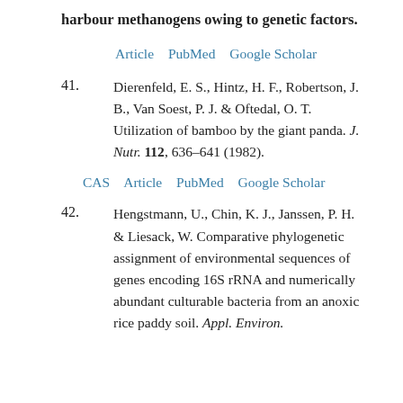harbour methanogens owing to genetic factors.
Article  PubMed  Google Scholar
41. Dierenfeld, E. S., Hintz, H. F., Robertson, J. B., Van Soest, P. J. & Oftedal, O. T. Utilization of bamboo by the giant panda. J. Nutr. 112, 636–641 (1982).
CAS  Article  PubMed  Google Scholar
42. Hengstmann, U., Chin, K. J., Janssen, P. H. & Liesack, W. Comparative phylogenetic assignment of environmental sequences of genes encoding 16S rRNA and numerically abundant culturable bacteria from an anoxic rice paddy soil. Appl. Environ.